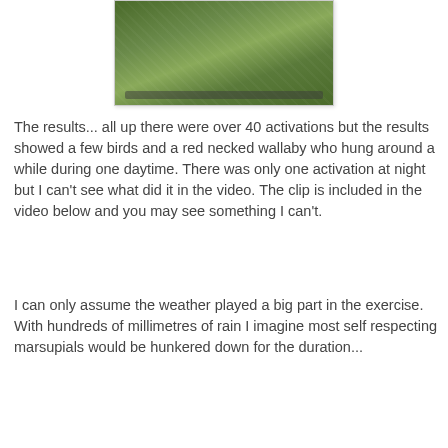[Figure (photo): A photo of dense green bush/scrub vegetation with some bare branches visible, likely from a trail camera]
The results... all up there were over 40 activations but the results showed a few birds and a red necked wallaby who hung around a while during one daytime. There was only one activation at night but I can't see what did it in the video. The clip is included in the video below and you may see something I can't.
I can only assume the weather played a big part in the exercise. With hundreds of millimetres of rain I imagine most self respecting marsupials would be hunkered down for the duration...
[Figure (screenshot): A YouTube video thumbnail showing a person near trees with the title 'Shanahan's Moun...' and a red play button]